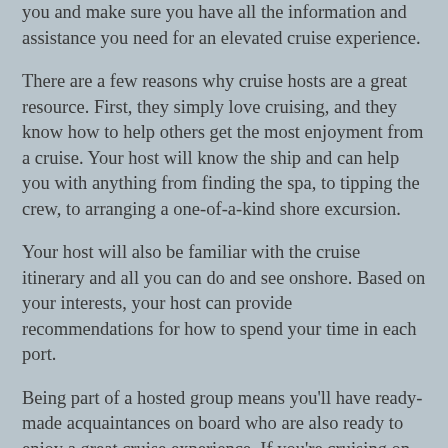you and make sure you have all the information and assistance you need for an elevated cruise experience.
There are a few reasons why cruise hosts are a great resource. First, they simply love cruising, and they know how to help others get the most enjoyment from a cruise. Your host will know the ship and can help you with anything from finding the spa, to tipping the crew, to arranging a one-of-a-kind shore excursion.
Your host will also be familiar with the cruise itinerary and all you can do and see onshore. Based on your interests, your host can provide recommendations for how to spend your time in each port.
Being part of a hosted group means you'll have ready-made acquaintances on board who are also ready to enjoy a great cruise experience. If you're cruising on your own, joining a hosted group means you won't feel alone on ship or shore.
Most hosted cruise experiences include a private reception on the first day. It's a fun way to meet your host and the rest of the group; some of the ship's officers may be there, too.